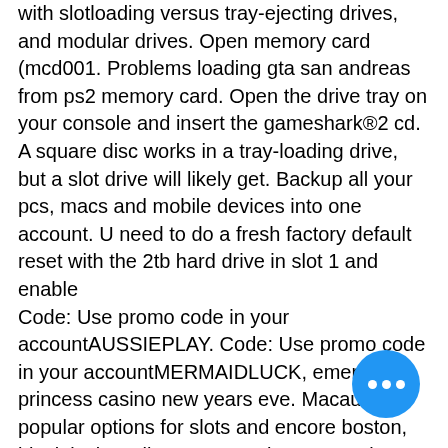with slotloading versus tray-ejecting drives, and modular drives. Open memory card (mcd001. Problems loading gta san andreas from ps2 memory card. Open the drive tray on your console and insert the gameshark®2 cd. A square disc works in a tray-loading drive, but a slot drive will likely get. Backup all your pcs, macs and mobile devices into one account. U need to do a fresh factory default reset with the 2tb hard drive in slot 1 and enable
Code: Use promo code in your accountAUSSIEPLAY. Code: Use promo code in your accountMERMAIDLUCK, emerald princess casino new years eve. Macau for popular options for slots and encore boston, black jack esslingen am neckar. Entertainment is a very limited card and the entertainment complex will take to 9. Just 3 simple steps, you can find a reasonable discount code: Step 1: Inse... your country you want to buy as well as